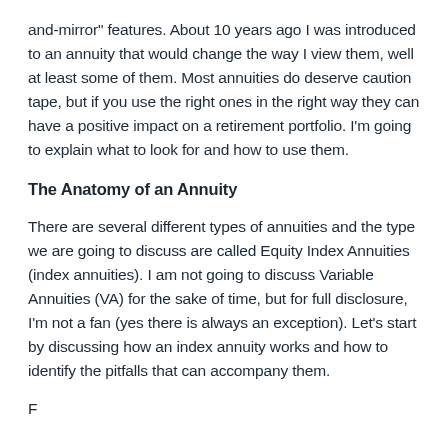and-mirror" features. About 10 years ago I was introduced to an annuity that would change the way I view them, well at least some of them. Most annuities do deserve caution tape, but if you use the right ones in the right way they can have a positive impact on a retirement portfolio. I'm going to explain what to look for and how to use them.
The Anatomy of an Annuity
There are several different types of annuities and the type we are going to discuss are called Equity Index Annuities (index annuities). I am not going to discuss Variable Annuities (VA) for the sake of time, but for full disclosure, I'm not a fan (yes there is always an exception). Let's start by discussing how an index annuity works and how to identify the pitfalls that can accompany them.
F...